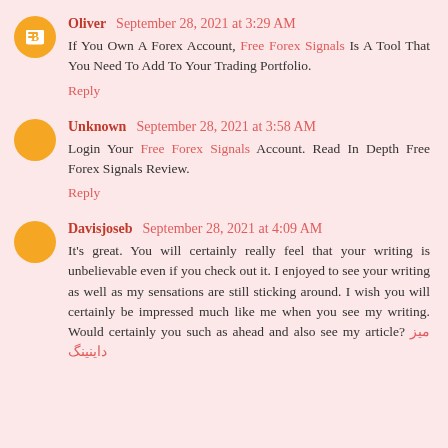Oliver  September 28, 2021 at 3:29 AM
If You Own A Forex Account, Free Forex Signals Is A Tool That You Need To Add To Your Trading Portfolio.
Reply
Unknown  September 28, 2021 at 3:58 AM
Login Your Free Forex Signals Account. Read In Depth Free Forex Signals Review.
Reply
Davisjoseb  September 28, 2021 at 4:09 AM
It's great. You will certainly really feel that your writing is unbelievable even if you check out it. I enjoyed to see your writing as well as my sensations are still sticking around. I wish you will certainly be impressed much like me when you see my writing. Would certainly you such as ahead and also see my article? میز داینینگ